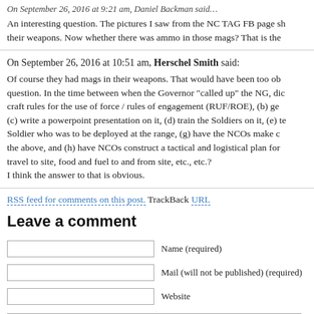On September 26, 2016 at 9:21 am, Daniel Backman said: An interesting question. The pictures I saw from the NC TAG FB page sh... their weapons. Now whether there was ammo in those mags? That is the...
On September 26, 2016 at 10:51 am, Herschel Smith said: Of course they had mags in their weapons. That would have been too ob... question. In the time between when the Governor "called up" the NG, dic... craft rules for the use of force / rules of engagement (RUF/ROE), (b) ge... (c) write a powerpoint presentation on it, (d) train the Soldiers on it, (e) te... Soldier who was to be deployed at the range, (g) have the NCOs make c... the above, and (h) have NCOs construct a tactical and logistical plan for... travel to site, food and fuel to and from site, etc., etc.? I think the answer to that is obvious.
RSS feed for comments on this post. TrackBack URL
Leave a comment
Name (required)
Mail (will not be published) (required)
Website